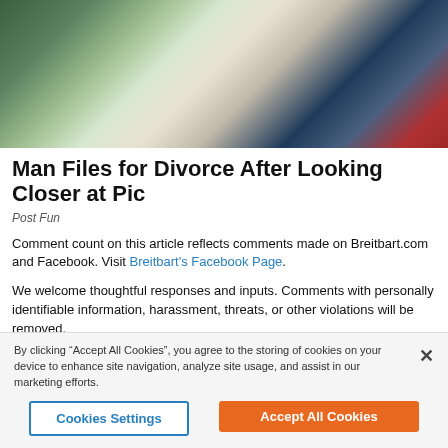[Figure (photo): Blurred outdoor photo showing a person in a white top and another in a blue vest with red tie, in front of colorful building steps]
Man Files for Divorce After Looking Closer at Pic
Post Fun
Comment count on this article reflects comments made on Breitbart.com and Facebook. Visit Breitbart's Facebook Page.
We welcome thoughtful responses and inputs. Comments with personally identifiable information, harassment, threats, or other violations will be removed.
Please let us know if you're having issues with commenting.
By clicking “Accept All Cookies”, you agree to the storing of cookies on your device to enhance site navigation, analyze site usage, and assist in our marketing efforts.